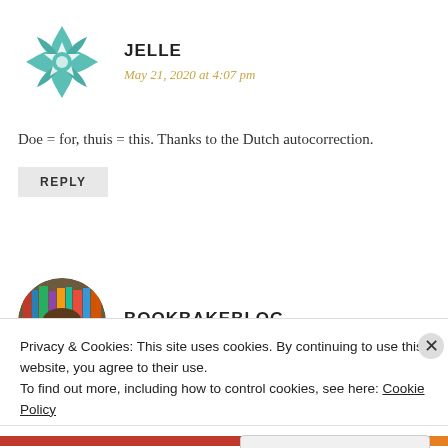[Figure (illustration): Teal/mint colored geometric quilt-pattern avatar icon for user JELLE]
JELLE
May 21, 2020 at 4:07 pm
Doe = for, thuis = this. Thanks to the Dutch autocorrection.
REPLY
[Figure (photo): Circular profile photo of a person with glasses in front of bookshelves]
BOOKBAKEBLOG
Privacy & Cookies: This site uses cookies. By continuing to use this website, you agree to their use.
To find out more, including how to control cookies, see here: Cookie Policy
Close and accept